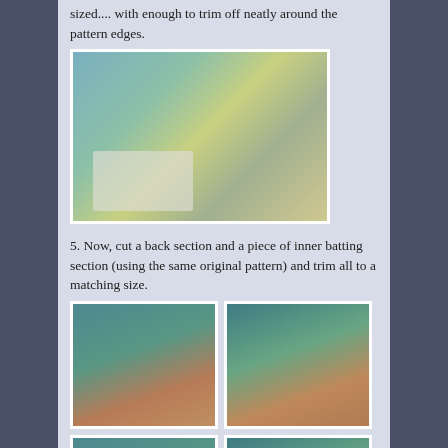sized.... with enough to trim off neatly around the pattern edges.
[Figure (photo): Fabric pieces and white batting/muslin laid out on a crafting surface]
5. Now, cut a back section and a piece of inner batting section (using the same original pattern) and trim all to a matching size.
[Figure (photo): French press coffee maker with colorful patchwork fabric cozy, front view on green cutting mat]
[Figure (photo): French press coffee maker with colorful patchwork fabric cozy, side view on green cutting mat]
[Figure (photo): French press coffee maker with patchwork cozy, another angle on green cutting mat]
[Figure (photo): French press coffee maker with white batting piece shown alongside cozy on green cutting mat]